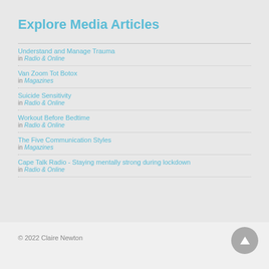Explore Media Articles
Understand and Manage Trauma
in Radio & Online
Van Zoom Tot Botox
in Magazines
Suicide Sensitivity
in Radio & Online
Workout Before Bedtime
in Radio & Online
The Five Communication Styles
in Magazines
Cape Talk Radio - Staying mentally strong during lockdown
in Radio & Online
© 2022 Claire Newton